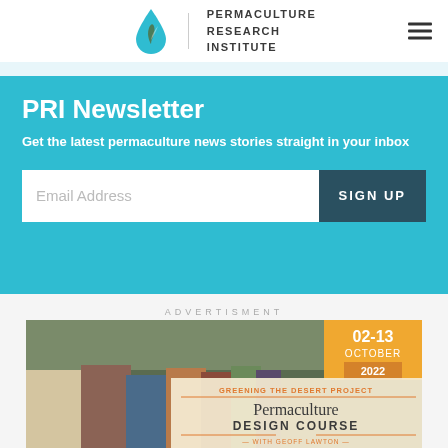[Figure (logo): Permaculture Research Institute logo with water droplet icon and text]
PRI Newsletter
Get the latest permaculture news stories straight in your inbox
Email Address [input field] SIGN UP [button]
ADVERTISMENT
[Figure (photo): Group of people holding papers outdoors with Permaculture Design Course advertisement overlay. Text: GREENING THE DESERT PROJECT, Permaculture Design Course, WITH GEOFF LAWTON, 02-13 OCTOBER 2022]